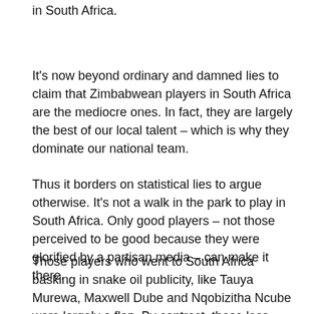in South Africa.
It's now beyond ordinary and damned lies to claim that Zimbabwean players in South Africa are the mediocre ones. In fact, they are largely the best of our local talent – which is why they dominate our national team.
Thus it borders on statistical lies to argue otherwise. It's not a walk in the park to play in South Africa. Only good players – not those perceived to be good because they were glorified by a partisan media – can make it there.
Those players who went to South Africa basking in snake oil publicity, like Tauya Murewa, Maxwell Dube and Nqobizitha Ncube were largely a flop. By contrast, those less publicised but good players like Tinosha Nengamosha and Charles